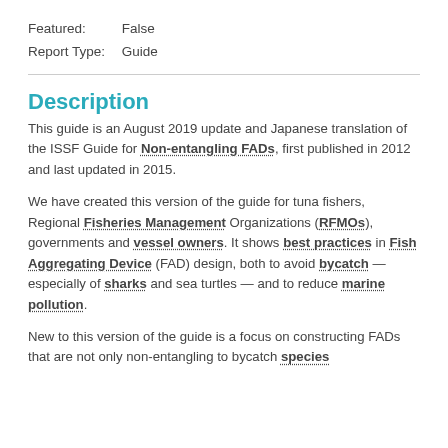Featured: False
Report Type: Guide
Description
This guide is an August 2019 update and Japanese translation of the ISSF Guide for Non-entangling FADs, first published in 2012 and last updated in 2015.
We have created this version of the guide for tuna fishers, Regional Fisheries Management Organizations (RFMOs), governments and vessel owners. It shows best practices in Fish Aggregating Device (FAD) design, both to avoid bycatch — especially of sharks and sea turtles — and to reduce marine pollution.
New to this version of the guide is a focus on constructing FADs that are not only non-entangling to bycatch species